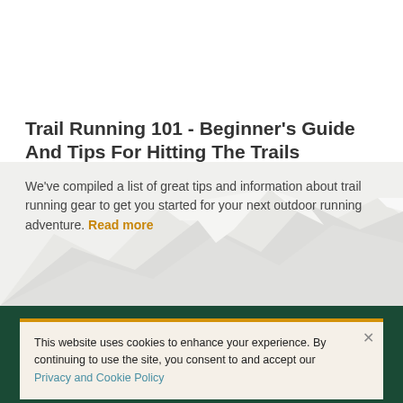[Figure (illustration): Snow-capped mountain range illustration in light grey/white tones as background image in the upper section of the page]
Trail Running 101 - Beginner's Guide And Tips For Hitting The Trails
We've compiled a list of great tips and information about trail running gear to get you started for your next outdoor running adventure. Read more
This website uses cookies to enhance your experience. By continuing to use the site, you consent to and accept our Privacy and Cookie Policy